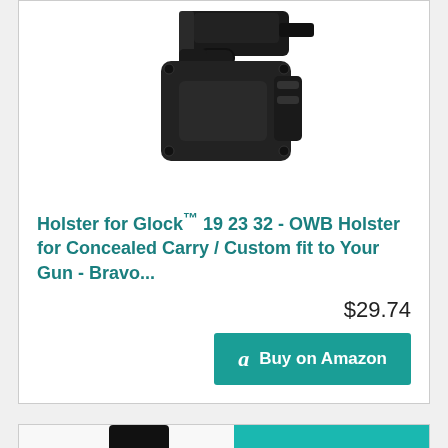[Figure (photo): Product photo of a black OWB holster for Glock with a handgun inserted, shown against white background]
Holster for Glock™ 19 23 32 - OWB Holster for Concealed Carry / Custom fit to Your Gun - Bravo...
$29.74
Buy on Amazon
[Figure (photo): Partial photo of a person in dark clothing drawing or holstering a gun at their waist]
Back To Top